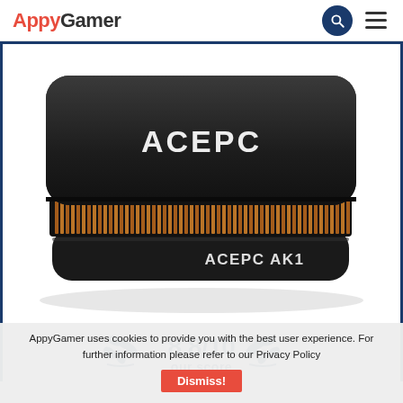AppyGamer
[Figure (photo): ACEPC AK1 mini PC, a small black square device with copper heat vents around the middle and 'ACEPC' logo on top and 'ACEPC AK1' text on the front face.]
[Figure (infographic): Score badge showing 8.8/10 our score with laurel wreaths on either side]
AppyGamer uses cookies to provide you with the best user experience. For further information please refer to our Privacy Policy
Dismiss!